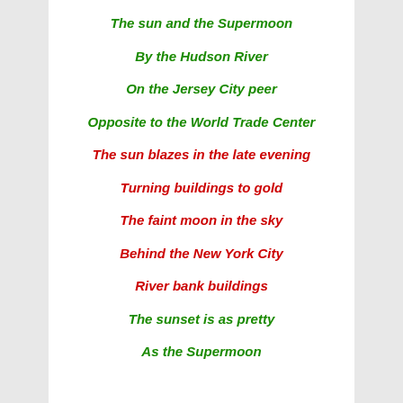The sun and the Supermoon
By the Hudson River
On the Jersey City peer
Opposite to the World Trade Center
The sun blazes in the late evening
Turning buildings to gold
The faint moon in the sky
Behind the New York City
River bank buildings
The sunset is as pretty
As the Supermoon